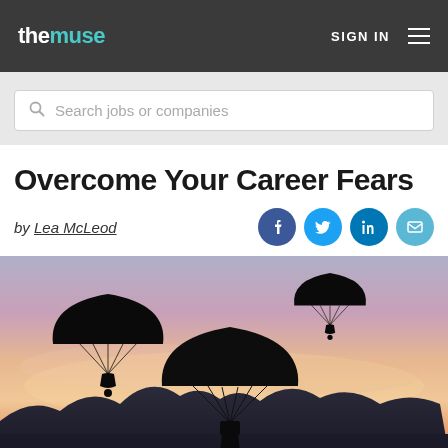the muse | SIGN IN
Search jobs or companies
Overcome Your Career Fears
by Lea McLeod
[Figure (photo): Three skydivers with open parachutes silhouetted against a colorful sunset sky with mountains in background]